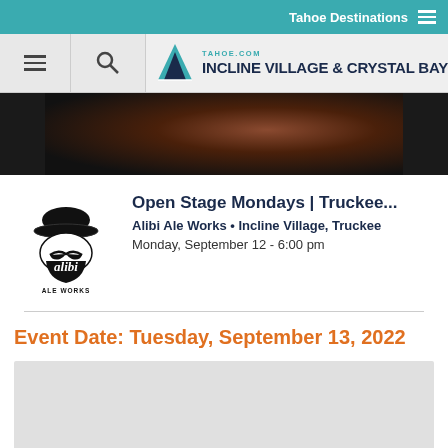Tahoe Destinations
[Figure (logo): Tahoe.com Incline Village & Crystal Bay website navigation header with hamburger menu, search icon, and mountain logo]
[Figure (photo): Dark concert/performance photo strip]
[Figure (logo): Alibi Ale Works logo with bowler hat and mustache]
Open Stage Mondays | Truckee...
Alibi Ale Works • Incline Village, Truckee
Monday, September 12 - 6:00 pm
Event Date: Tuesday, September 13, 2022
[Figure (other): Gray placeholder box]